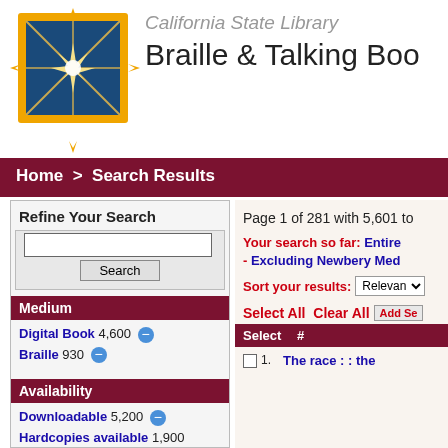[Figure (logo): California State Library star logo with orange border and blue background]
California State Library Braille & Talking Boo
Home > Search Results
Refine Your Search
Medium
Digital Book 4,600
Braille 930
Availability
Downloadable 5,200
Hardcopies available 1,900
Page 1 of 281 with 5,601 to
Your search so far: Entire - Excluding Newbery Med
Sort your results: Relevance
Select All Clear All Add Se
| Select | # |
| --- | --- |
|  | 1. | The race : : the |